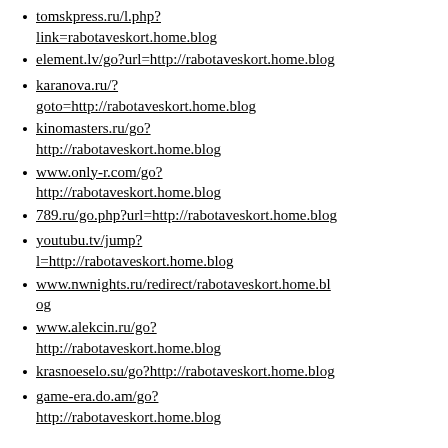tomskpress.ru/l.php?link=rabotaveskort.home.blog
element.lv/go?url=http://rabotaveskort.home.blog
karanova.ru/?goto=http://rabotaveskort.home.blog
kinomasters.ru/go?http://rabotaveskort.home.blog
www.only-r.com/go?http://rabotaveskort.home.blog
789.ru/go.php?url=http://rabotaveskort.home.blog
youtubu.tv/jump?l=http://rabotaveskort.home.blog
www.nwnights.ru/redirect/rabotaveskort.home.blog
www.alekcin.ru/go?http://rabotaveskort.home.blog
krasnoeselo.su/go?http://rabotaveskort.home.blog
game-era.do.am/go?http://rabotaveskort.home.blog